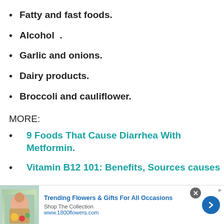Fatty and fast foods.
Alcohol .
Garlic and onions.
Dairy products.
Broccoli and cauliflower.
MORE:
9 Foods That Cause Diarrhea With Metformin.
Vitamin B12 101: Benefits, Sources causes of deficiency & More